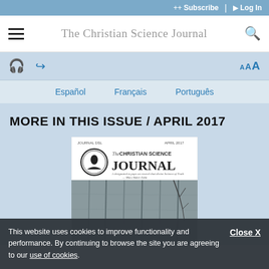Subscribe | Log In
The Christian Science Journal
AAA (font size controls)
Español   Français   Português
MORE IN THIS ISSUE / APRIL 2017
[Figure (photo): Cover of The Christian Science Journal, April 2017 issue, showing the journal masthead with circular logo and a background photo of weathered wooden fence/boards with bare tree branches.]
This website uses cookies to improve functionality and performance. By continuing to browse the site you are agreeing to our use of cookies.